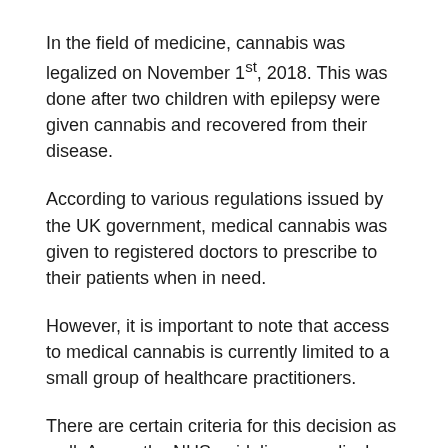In the field of medicine, cannabis was legalized on November 1st, 2018. This was done after two children with epilepsy were given cannabis and recovered from their disease.
According to various regulations issued by the UK government, medical cannabis was given to registered doctors to prescribe to their patients when in need.
However, it is important to note that access to medical cannabis is currently limited to a small group of healthcare practitioners.
There are certain criteria for this decision as well. As per the NHS guidelines, medical cannabis can only be prescribed once there is sufficient evidence that there are no other working treatment options, and marijuana is the only alternative.